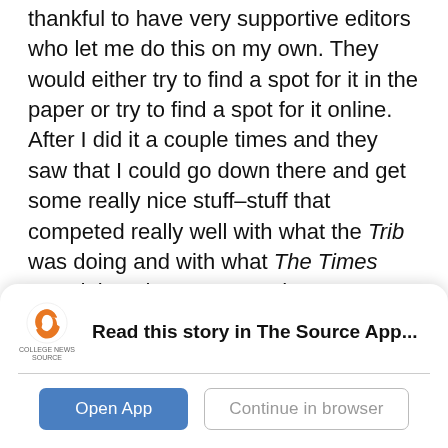thankful to have very supportive editors who let me do this on my own. They would either try to find a spot for it in the paper or try to find a spot for it online. After I did it a couple times and they saw that I could go down there and get some really nice stuff–stuff that competed really well with what the Trib was doing and with what The Times was doing–they were much more flexible with giving me space in the paper. The hard part was always getting a writer to come along. To answer the question though, there wasn't a real focus on national stuff.

I really, really wanted to be a professional photojournalist, and this was my opportunity to kind of
[Figure (screenshot): App download banner: College News Source logo on left, bold text 'Read this story in The Source App...' with Open App and Continue in browser buttons below.]